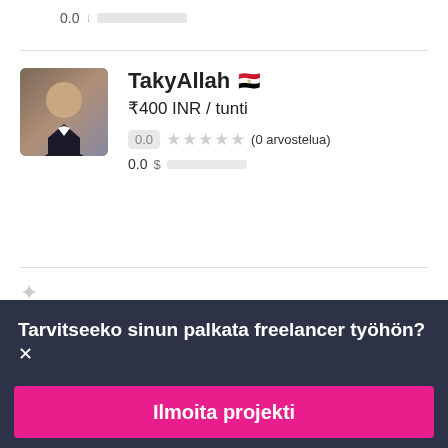0.0 [blurred bar]
TakyAllah 🇪🇬
₹400 INR / tunti
0.0 ★★★★★ (0 arvostelua)
0.0 $ [blurred bar]
Tarvitseeko sinun palkata freelancer työhön? ✕
Ilmoita projekti